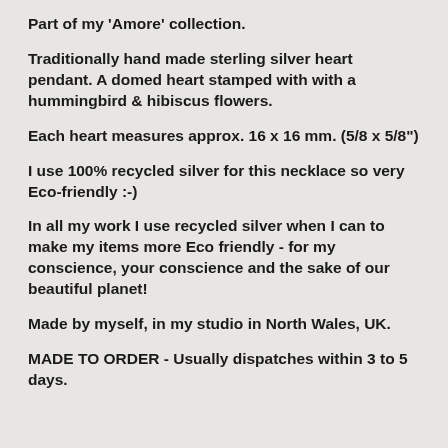Part of my 'Amore' collection.
Traditionally hand made sterling silver heart pendant. A domed heart stamped with with a hummingbird & hibiscus flowers.
Each heart measures approx. 16 x 16 mm. (5/8 x 5/8")
I use 100% recycled silver for this necklace so very Eco-friendly :-)
In all my work I use recycled silver when I can to make my items more Eco friendly - for my conscience, your conscience and the sake of our beautiful planet!
Made by myself, in my studio in North Wales, UK.
MADE TO ORDER - Usually dispatches within 3 to 5 days.